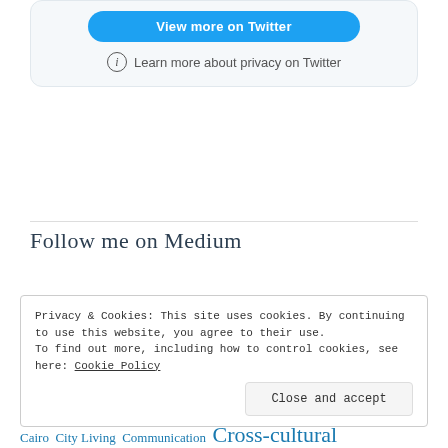[Figure (screenshot): Twitter widget box with a blue 'View more on Twitter' button and 'Learn more about privacy on Twitter' text with info icon]
Follow me on Medium
https://marilyngard.medium.com/
Privacy & Cookies: This site uses cookies. By continuing to use this website, you agree to their use.
To find out more, including how to control cookies, see here: Cookie Policy
Close and accept
Cairo  City Living  Communication  Cross-cultural